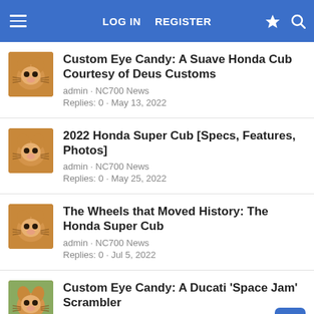LOG IN  REGISTER
Custom Eye Candy: A Suave Honda Cub Courtesy of Deus Customs
admin · NC700 News
Replies: 0 · May 13, 2022
2022 Honda Super Cub [Specs, Features, Photos]
admin · NC700 News
Replies: 0 · May 25, 2022
The Wheels that Moved History: The Honda Super Cub
admin · NC700 News
Replies: 0 · Jul 5, 2022
Custom Eye Candy: A Ducati 'Space Jam' Scrambler
admin · NC700 News
Replies: 0 · (truncated)